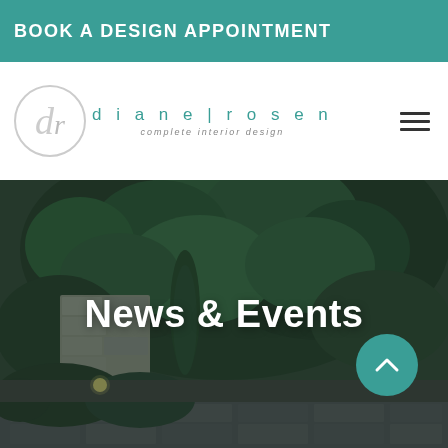BOOK A DESIGN APPOINTMENT
[Figure (logo): Diane Rosen complete interior design logo with circular monogram and teal text]
[Figure (photo): Outdoor garden scene at dusk with stone wall, lush green plants, pink roses, and paved pathway]
News & Events